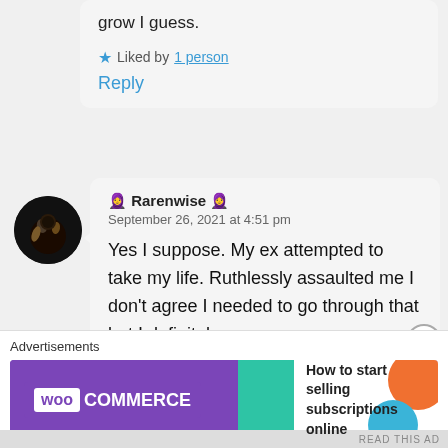moment or the other. It helps us grow I guess.
★ Liked by 1 person
Reply
🧕 Rarenwise 🧕
September 26, 2021 at 4:51 pm
Yes I suppose. My ex attempted to take my life. Ruthlessly assaulted me I don't agree I needed to go through that but I definitely
Advertisements
[Figure (screenshot): WooCommerce advertisement banner: purple background with WooCommerce logo on left, teal arrow in center, white right panel with text 'How to start selling subscriptions online' and decorative orange and blue blobs.]